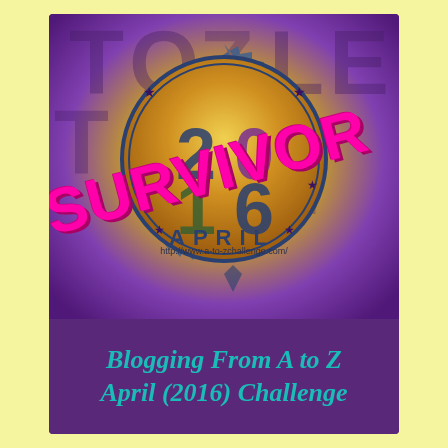[Figure (illustration): A-to-Z Blogging Challenge 2016 Survivor badge. Circular stamp-style badge with starburst border in yellow/orange/teal gradient, showing '2016' in large numbers, text 'http://www.a-to-zchallenge.com/' across the middle, stars around the ring, 'APRIL' at the bottom of the circle. Overlaid diagonally with bold magenta/pink 'SURVIVOR' text. Background is purple/violet. Bottom section on dark purple shows teal italic bold text: 'Blogging From A to Z April (2016) Challenge'. Entire image set on pale yellow background.]
Blogging From A to Z April (2016) Challenge